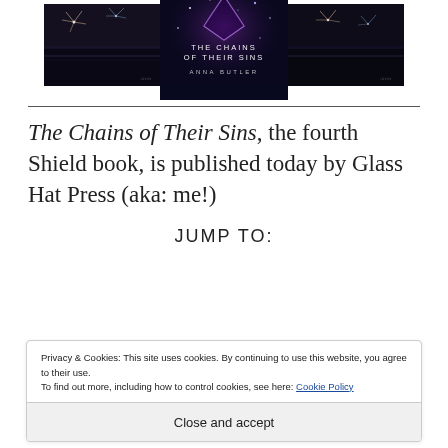[Figure (photo): Three book cover images in a row: left and right are dark atmospheric covers with fireworks/light effects, center is 'The Chains of Their Sins' by Anna Butler with purple galaxy design]
The Chains of Their Sins, the fourth Shield book, is published today by Glass Hat Press (aka: me!)
JUMP TO:
Privacy & Cookies: This site uses cookies. By continuing to use this website, you agree to their use.
To find out more, including how to control cookies, see here: Cookie Policy
Close and accept